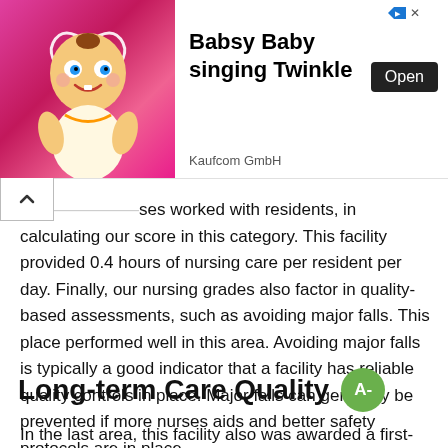[Figure (illustration): Advertisement banner: Babsy Baby singing Twinkle app ad with cartoon baby character on pink background, Open button, and Kaufcom GmbH label]
ing home, as well as the quantity of time these nurses worked with residents, in calculating our score in this category. This facility provided 0.4 hours of nursing care per resident per day. Finally, our nursing grades also factor in quality-based assessments, such as avoiding major falls. This place performed well in this area. Avoiding major falls is typically a good indicator that a facility has reliable quality controls in place. Major falls can generally be prevented if more nurses aids and better safety protocols are in place.
Long-term Care Quality  A-
In the last area, this facility also was awarded a first-